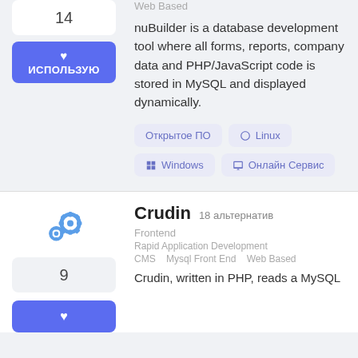14
ИСПОЛЬЗУЮ
Web Based
nuBuilder is a database development tool where all forms, reports, company data and PHP/JavaScript code is stored in MySQL and displayed dynamically.
Открытое ПО
Linux
Windows
Онлайн Сервис
Crudin
18 альтернатив
Frontend
Rapid Application Development
CMS   Mysql Front End   Web Based
9
Crudin, written in PHP, reads a MySQL